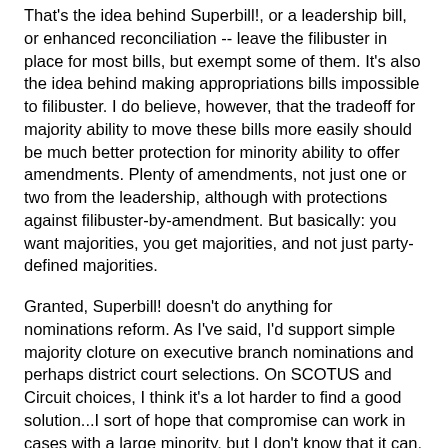That's the idea behind Superbill!, or a leadership bill, or enhanced reconciliation -- leave the filibuster in place for most bills, but exempt some of them. It's also the idea behind making appropriations bills impossible to filibuster. I do believe, however, that the tradeoff for majority ability to move these bills more easily should be much better protection for minority ability to offer amendments. Plenty of amendments, not just one or two from the leadership, although with protections against filibuster-by-amendment. But basically: you want majorities, you get majorities, and not just party-defined majorities.
Granted, Superbill! doesn't do anything for nominations reform. As I've said, I'd support simple majority cloture on executive branch nominations and perhaps district court selections. On SCOTUS and Circuit choices, I think it's a lot harder to find a good solution...I sort of hope that compromise can work in cases with a large minority, but I don't know that it can.
Look: if the talking filibuster passes, I hope that it does what Merkley and Udall think it will do. I just don't see why it